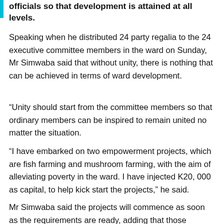officials so that development is attained at all levels.
Speaking when he distributed 24 party regalia to the 24 executive committee members in the ward on Sunday, Mr Simwaba said that without unity, there is nothing that can be achieved in terms of ward development.
“Unity should start from the committee members so that ordinary members can be inspired to remain united no matter the situation.
“I have embarked on two empowerment projects, which are fish farming and mushroom farming, with the aim of alleviating poverty in the ward. I have injected K20, 000 as capital, to help kick start the projects,” he said.
Mr Simwaba said the projects will commence as soon as the requirements are ready, adding that those expected to benefit are women and youths mostly in ward.